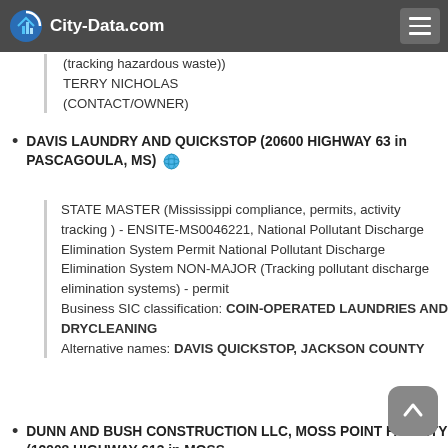City-Data.com
(tracking hazardous waste))
TERRY NICHOLAS (CONTACT/OWNER)
DAVIS LAUNDRY AND QUICKSTOP (20600 HIGHWAY 63 in PASCAGOULA, MS)
STATE MASTER (Mississippi compliance, permits, activity tracking ) - ENSITE-MS0046221, National Pollutant Discharge Elimination System Permit National Pollutant Discharge Elimination System NON-MAJOR (Tracking pollutant discharge elimination systems) - permit
Business SIC classification: COIN-OPERATED LAUNDRIES AND DRYCLEANING
Alternative names: DAVIS QUICKSTOP, JACKSON COUNTY
DUNN AND BUSH CONSTRUCTION LLC, MOSS POINT FACILITY (12908 HIGHWAY 613 in MOSS...